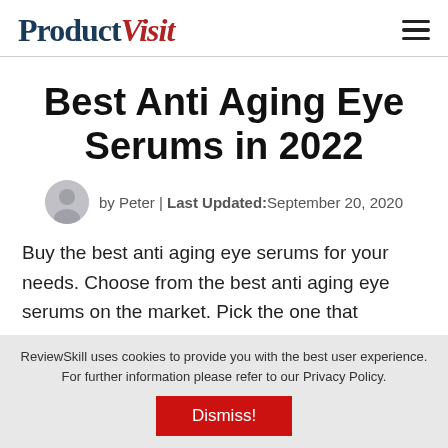ProductVisit
Best Anti Aging Eye Serums in 2022
by Peter | Last Updated: September 20, 2020
Buy the best anti aging eye serums for your needs. Choose from the best anti aging eye serums on the market. Pick the one that satisfies your need.
ReviewSkill uses cookies to provide you with the best user experience. For further information please refer to our Privacy Policy. Dismiss!